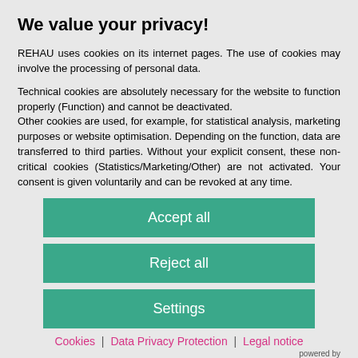We value your privacy!
REHAU uses cookies on its internet pages. The use of cookies may involve the processing of personal data.
Technical cookies are absolutely necessary for the website to function properly (Function) and cannot be deactivated. Other cookies are used, for example, for statistical analysis, marketing purposes or website optimisation. Depending on the function, data are transferred to third parties. Without your explicit consent, these non-critical cookies (Statistics/Marketing/Other) are not activated. Your consent is given voluntarily and can be revoked at any time.
Accept all
Reject all
Settings
Cookies | Data Privacy Protection | Legal notice
powered by